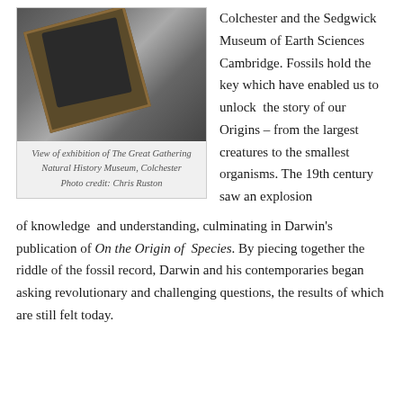[Figure (photo): View of a museum exhibition display case showing fossils including an ammonite, with a framed display on a glass shelf. Part of The Great Gathering exhibition at Natural History Museum, Colchester.]
View of exhibition of The Great Gathering Natural History Museum, Colchester Photo credit: Chris Ruston
Colchester and the Sedgwick Museum of Earth Sciences Cambridge. Fossils hold the key which have enabled us to unlock the story of our Origins – from the largest creatures to the smallest organisms. The 19th century saw an explosion of knowledge and understanding, culminating in Darwin's publication of On the Origin of Species. By piecing together the riddle of the fossil record, Darwin and his contemporaries began asking revolutionary and challenging questions, the results of which are still felt today.